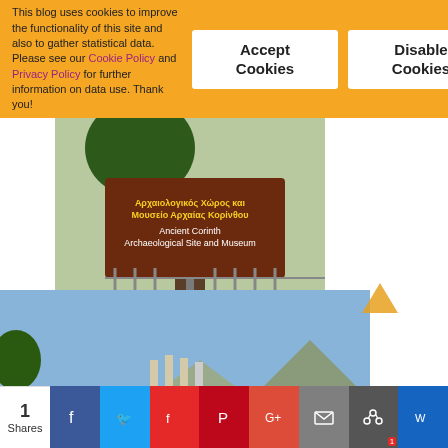This blog uses cookies to improve the functionality of this site and also to gather statistical data. Please see our Cookie Policy and Privacy Policy for further information on data use. Thank you!
[Figure (other): Accept Cookies button]
[Figure (other): Disable Cookies button]
[Figure (photo): Photo of the Ancient Corinth Archaeological Site and Museum sign on a brown board with yellow Greek and English text, with trees and fence visible]
[Figure (photo): Photo of ancient Greek columns ruins in Corinth with people walking and rocky landscape under blue sky]
[Figure (other): Social share bar with Facebook, Twitter, Flipboard, Pinterest, Google+, Mail, Stacker, and Swipe share buttons, showing 1 share]